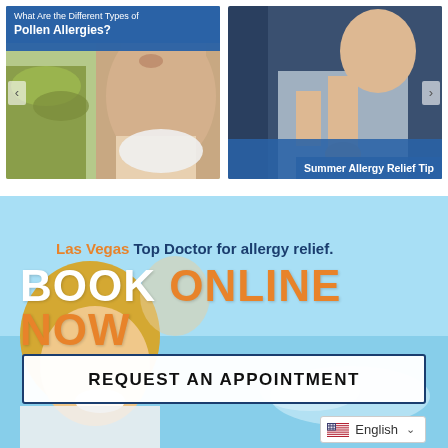[Figure (photo): Left card: man sneezing into tissue near pollen plant, with blue overlay banner reading 'What Are the Different Types of Pollen Allergies?' and left navigation arrow]
[Figure (photo): Right card: woman scratching her arm, with blue overlay banner at bottom reading 'Summer Allergy Relief Tips' and right navigation arrow]
[Figure (photo): Banner background: young girl laughing outdoors with light blue sky, overlaid with text 'Las Vegas Top Doctor for allergy relief.' and 'BOOK ONLINE NOW']
Las Vegas Top Doctor for allergy relief.
BOOK ONLINE NOW
REQUEST AN APPOINTMENT
English